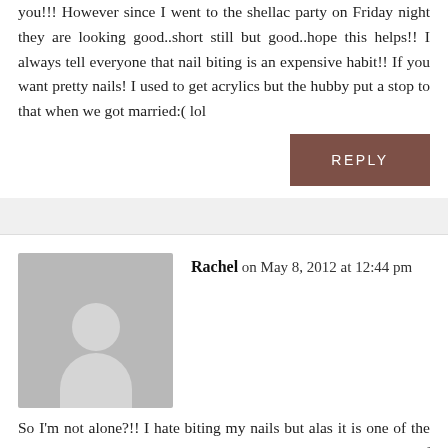you!!! However since I went to the shellac party on Friday night they are looking good..short still but good..hope this helps!! I always tell everyone that nail biting is an expensive habit!! If you want pretty nails! I used to get acrylics but the hubby put a stop to that when we got married:( lol
REPLY
Rachel on May 8, 2012 at 12:44 pm
So I'm not alone?!! I hate biting my nails but alas it is one of the lesser evils I can imagine living with. I wish I were like some of you that have commented who can keep acrylic nails… I bite them off! It's like a new challenge. Thanks for sharing, Clare, I'm glad to know that someone over the age of 12 shares this habit with me.